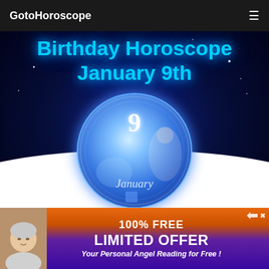GotoHoroscope
Birthday Horoscope January 9th
[Figure (illustration): Circular decorative image showing the number 9 and the word January, with a woman figure, set against a dark blue starry sky background with a glowing blue sphere and white arc at bottom]
[Figure (photo): Advertisement banner: elderly woman photo on left, orange and purple background with text '100% FREE LIMITED OFFER Your Personal Angel Reading for Free!']